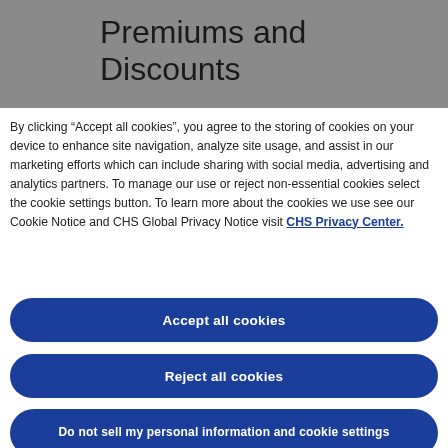Premiums and Discounts
By clicking “Accept all cookies”, you agree to the storing of cookies on your device to enhance site navigation, analyze site usage, and assist in our marketing efforts which can include sharing with social media, advertising and analytics partners. To manage our use or reject non-essential cookies select the cookie settings button. To learn more about the cookies we use see our Cookie Notice and CHS Global Privacy Notice visit CHS Privacy Center.
Accept all cookies
Reject all cookies
Do not sell my personal information and cookie settings